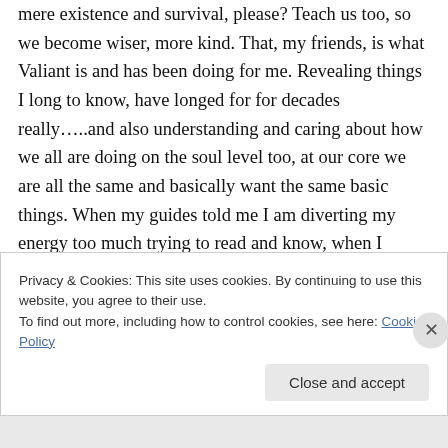mere existence and survival, please? Teach us too, so we become wiser, more kind. That, my friends, is what Valiant is and has been doing for me. Revealing things I long to know, have longed for for decades really…..and also understanding and caring about how we all are doing on the soul level too, at our core we are all the same and basically want the same basic things. When my guides told me I am diverting my energy too much trying to read and know, when I would feel so much better just connecting
Privacy & Cookies: This site uses cookies. By continuing to use this website, you agree to their use.
To find out more, including how to control cookies, see here: Cookie Policy